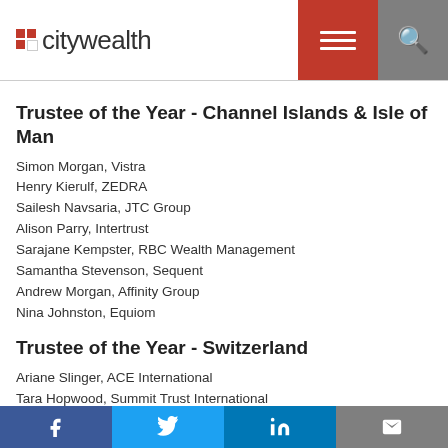[Figure (logo): Citywealth logo with red grid icon and wordmark]
Trustee of the Year - Channel Islands & Isle of Man
Simon Morgan, Vistra
Henry Kierulf, ZEDRA
Sailesh Navsaria, JTC Group
Alison Parry, Intertrust
Sarajane Kempster, RBC Wealth Management
Samantha Stevenson, Sequent
Andrew Morgan, Affinity Group
Nina Johnston, Equiom
Trustee of the Year - Switzerland
Ariane Slinger, ACE International
Tara Hopwood, Summit Trust International
Elliot Goodman, Clermont Trust
Anna Steward, Sequent
Hakim Berhoune, Praxis IFM
Social share bar: Facebook, Twitter, LinkedIn, Email